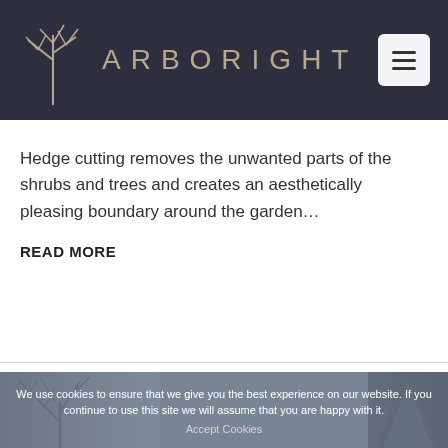[Figure (logo): Arboright logo: tree branch icon on dark navy background with stylized text ARBORIGHT and a hamburger menu button]
Hedge cutting removes the unwanted parts of the shrubs and trees and creates an aesthetically pleasing boundary around the garden…
READ MORE
[Figure (photo): Outdoor winter scene showing bare tree silhouettes against a grey sky with a cookie consent banner overlay reading: We use cookies to ensure that we give you the best experience on our website. If you continue to use this site we will assume that you are happy with it. Accept Cookies]